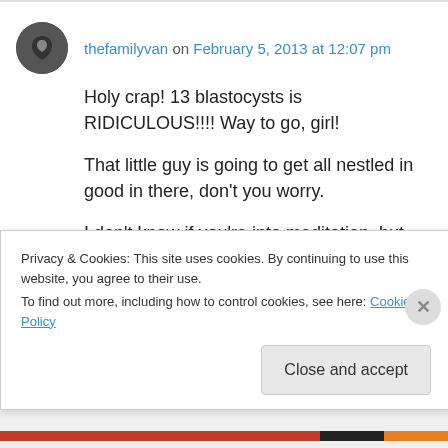thefamilyvan on February 5, 2013 at 12:07 pm
Holy crap! 13 blastocysts is RIDICULOUS!!!! Way to go, girl!

That little guy is going to get all nestled in good in there, don't you worry.

I don't know if you're into meditation, but I've got an amazing CD especially for IVF that has
Privacy & Cookies: This site uses cookies. By continuing to use this website, you agree to their use.
To find out more, including how to control cookies, see here: Cookie Policy
Close and accept